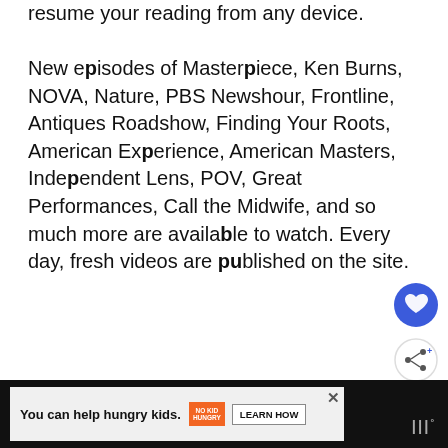resume your reading from any device.
New episodes of Masterpiece, Ken Burns, NOVA, Nature, PBS Newshour, Frontline, Antiques Roadshow, Finding Your Roots, American Experience, American Masters, Independent Lens, POV, Great Performances, Call the Midwife, and so much more are available to watch. Every day, fresh videos are published on the site.
[Figure (other): Heart/favorite button (blue circle with white heart icon) and share button (white circle with share icon)]
[Figure (other): Advertisement bar: 'You can help hungry kids.' with No Kid Hungry logo and Learn How button. Wordmark logo at right.]